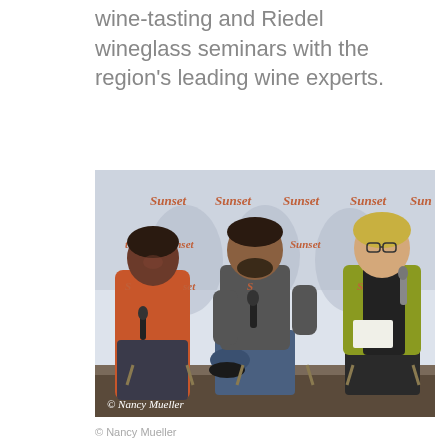wine-tasting and Riedel wineglass seminars with the region's leading wine experts.
[Figure (photo): Three people seated on chairs in front of a repeating 'Sunset' branded backdrop. The person on the left is a Black woman wearing an orange jacket and holding a microphone. The person in the center is a bearded man in a grey t-shirt and jeans. The person on the right is a blonde woman in a black vest and yellow cardigan, holding a microphone and papers. A photo credit reads '© Nancy Mueller' in the lower left corner.]
© Nancy Mueller